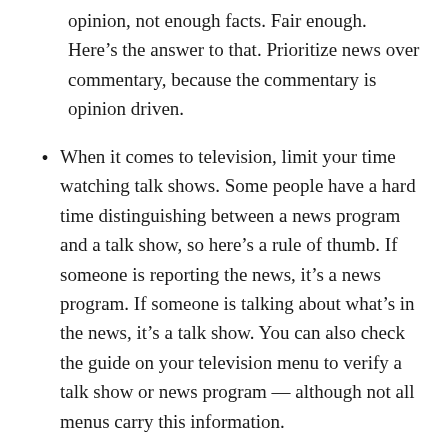opinion, not enough facts. Fair enough. Here’s the answer to that. Prioritize news over commentary, because the commentary is opinion driven.
When it comes to television, limit your time watching talk shows. Some people have a hard time distinguishing between a news program and a talk show, so here’s a rule of thumb. If someone is reporting the news, it’s a news program. If someone is talking about what’s in the news, it’s a talk show. You can also check the guide on your television menu to verify a talk show or news program — although not all menus carry this information.
Also, keep in mind: the cable news networks don’t